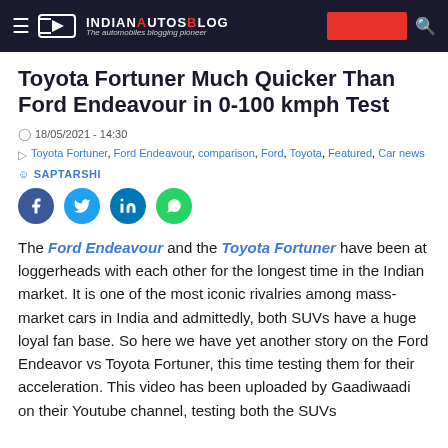IndianAutosBlog — The automobiles blogging pioneer
Toyota Fortuner Much Quicker Than Ford Endeavour in 0-100 kmph Test
18/05/2021 - 14:30
Toyota Fortuner, Ford Endeavour, comparison, Ford, Toyota, Featured, Car news
SAPTARSHI
[Figure (other): Social share buttons: Facebook, Twitter, LinkedIn, WhatsApp]
The Ford Endeavour and the Toyota Fortuner have been at loggerheads with each other for the longest time in the Indian market. It is one of the most iconic rivalries among mass-market cars in India and admittedly, both SUVs have a huge loyal fan base. So here we have yet another story on the Ford Endeavor vs Toyota Fortuner, this time testing them for their acceleration. This video has been uploaded by Gaadiwaadi on their Youtube channel, testing both the SUVs